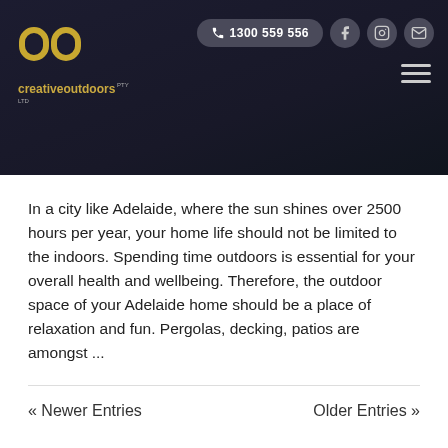[Figure (logo): Creative Outdoors Pty Ltd logo with golden chain link icon and text on dark navy background header with phone number, Facebook, Instagram, email icons, and hamburger menu]
In a city like Adelaide, where the sun shines over 2500 hours per year, your home life should not be limited to the indoors. Spending time outdoors is essential for your overall health and wellbeing. Therefore, the outdoor space of your Adelaide home should be a place of relaxation and fun. Pergolas, decking, patios are amongst ...
« Newer Entries    Older Entries »